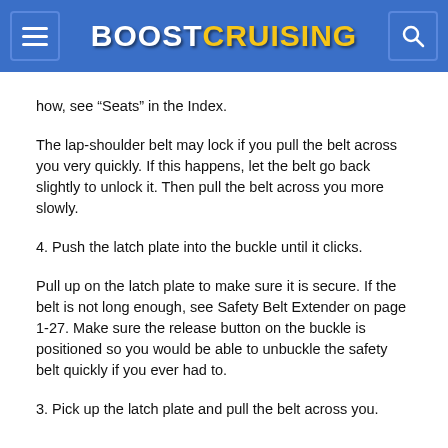BOOSTCRUISING
how, see “Seats” in the Index.
The lap-shoulder belt may lock if you pull the belt across you very quickly. If this happens, let the belt go back slightly to unlock it. Then pull the belt across you more slowly.
4. Push the latch plate into the buckle until it clicks.
Pull up on the latch plate to make sure it is secure. If the belt is not long enough, see Safety Belt Extender on page 1-27. Make sure the release button on the buckle is positioned so you would be able to unbuckle the safety belt quickly if you ever had to.
3. Pick up the latch plate and pull the belt across you.